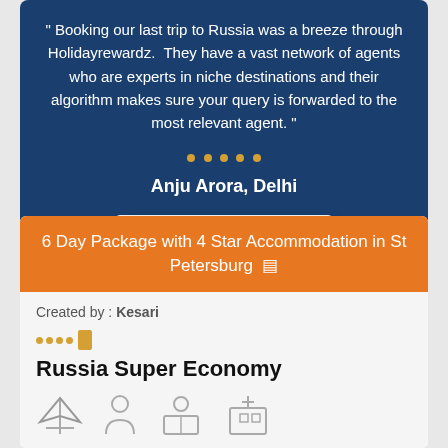" Booking our last trip to Russia was a breeze through Holidayrewardz.  They have a vast network of agents who are experts in niche destinations and their algorithm makes sure your query is forwarded to the most relevant agent. "
Anju Arora, Delhi
Submit Inquiry
6 Day Package with 4 Star Accommodation in St Petersburg
Created by : Kesari
Russia Super Economy
[Figure (illustration): Row of travel icons: airplane, person/silhouette, customs/checkpoint agent, hotel building with cross symbol]